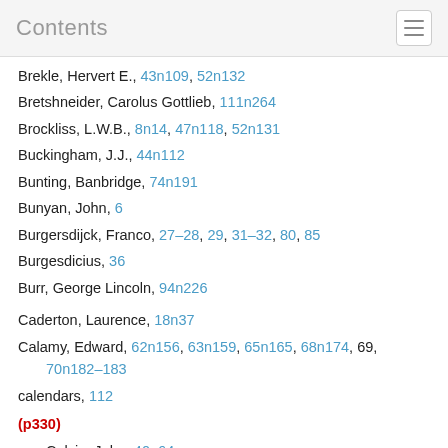Contents
Brekle, Hervert E., 43n109, 52n132
Bretshneider, Carolus Gottlieb, 111n264
Brockliss, L.W.B., 8n14, 47n118, 52n131
Buckingham, J.J., 44n112
Bunting, Banbridge, 74n191
Bunyan, John, 6
Burgersdijck, Franco, 27–28, 29, 31–32, 80, 85
Burgesdicius, 36
Burr, George Lincoln, 94n226
Caderton, Laurence, 18n37
Calamy, Edward, 62n156, 63n159, 65n165, 68n174, 69, 70n182–183
calendars, 112
(p330)
Calvin, John, 40, 64
Calvin College, MI, 137
Calvinism, 30, 136